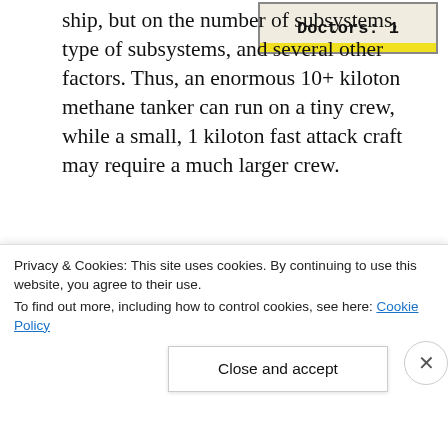[Figure (screenshot): Game UI screenshot showing 'Doctors: 1' label in a box with yellow bar at bottom]
ship, but on the number of subsystems, type of subsystems, and several other factors. Thus, an enormous 10+ kiloton methane tanker can run on a tiny crew, while a small, 1 kiloton fast attack craft may require a much larger crew.
[Figure (screenshot): Advertisement banner with dark navy background showing logo '2' and text 'Fewer meetings, more work.']
REPORT THIS AD
[Figure (screenshot): Game UI bar showing 'i 16 Weapons Department: 16']
With
Privacy & Cookies: This site uses cookies. By continuing to use this website, you agree to their use. To find out more, including how to control cookies, see here: Cookie Policy
Close and accept